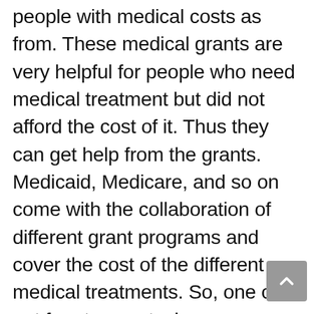people with medical costs as from. These medical grants are very helpful for people who need medical treatment but did not afford the cost of it. Thus they can get help from the grants. Medicaid, Medicare, and so on come with the collaboration of different grant programs and cover the cost of the different medical treatments. So, one can get free tummy tuck surgery under those medical grants. From those government grants, one can get help to lessen the cost of tummy tuck surgery. But the cost can be lessened in the specific hospital and by the specific doctor who is working with the government and helps people. From the grant, one can get up to $2000 as grant money for the tummy tuck surgery. But only those people will get help who meet the